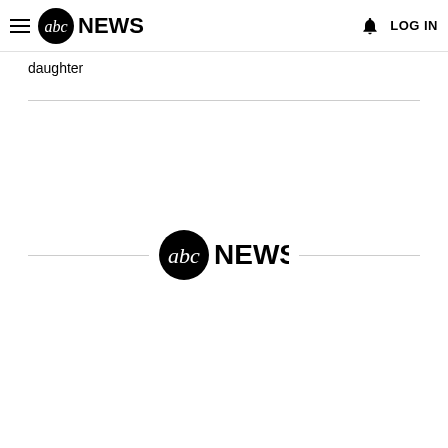ABC News header with hamburger menu, ABC News logo, bell icon, and LOG IN
daughter
[Figure (logo): ABC News logo centered between two horizontal rules]